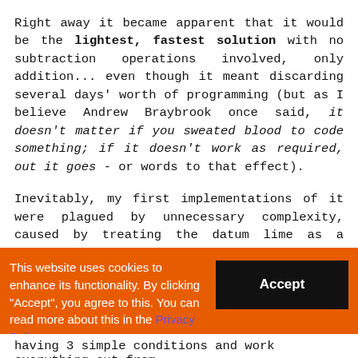Right away it became apparent that it would be the lightest, fastest solution with no subtraction operations involved, only addition... even though it meant discarding several days' worth of programming (but as I believe Andrew Braybrook once said, it doesn't matter if you sweated blood to code something; if it doesn't work as required, out it goes - or words to that effect).
Inevitably, my first implementations of it were plagued by unnecessary complexity, caused by treating the datum lime as a "ghost" sprite complete with its own MSB variable that was checked using the BIT instruction... No, no, no... just no!!!
This website uses cookies to enhance its functionality. By clicking "Accept", you agree to this. You can read more about this in the Privacy Policy.
having 3 simple conditions and work everything out from